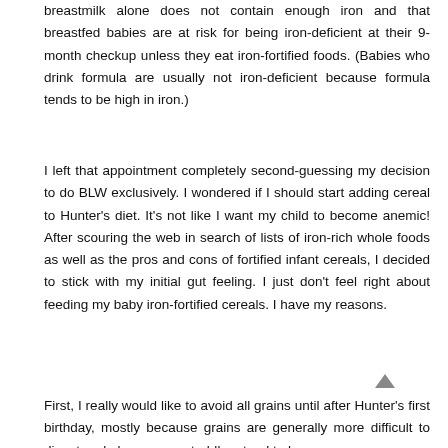breastmilk alone does not contain enough iron and that breastfed babies are at risk for being iron-deficient at their 9-month checkup unless they eat iron-fortified foods. (Babies who drink formula are usually not iron-deficient because formula tends to be high in iron.)
I left that appointment completely second-guessing my decision to do BLW exclusively. I wondered if I should start adding cereal to Hunter's diet. It's not like I want my child to become anemic! After scouring the web in search of lists of iron-rich whole foods as well as the pros and cons of fortified infant cereals, I decided to stick with my initial gut feeling. I just don't feel right about feeding my baby iron-fortified cereals. I have my reasons.
First, I really would like to avoid all grains until after Hunter's first birthday, mostly because grains are generally more difficult to digest and also younger toddlers tend to have a